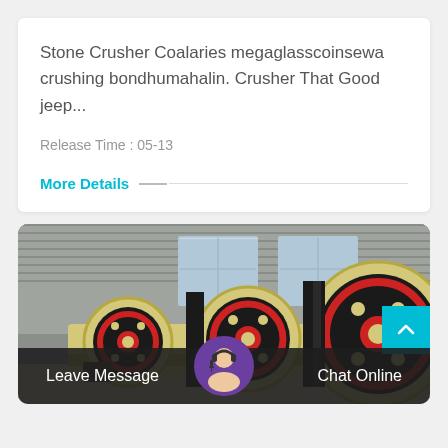Stone Crusher Coalaries megaglasscoinsewa crushing bondhumahalin. Crusher That Good jeep...
Release Time : 05-13
More Details
[Figure (photo): Industrial stone crusher machinery in a factory setting, showing large yellow and red flywheel/roller components with black belts, factory background with windows and corrugated metal walls]
Leave Message
Chat Online